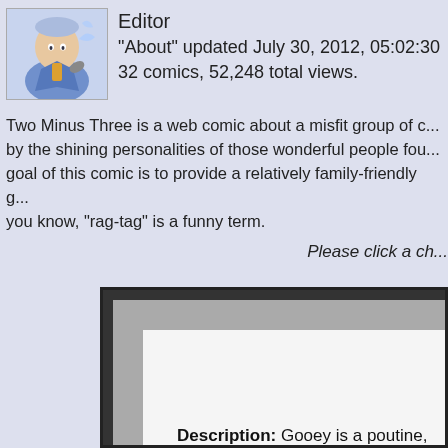Editor
"About" updated July 30, 2012, 05:02:30
32 comics, 52,248 total views.
Two Minus Three is a web comic about a misfit group of c... by the shining personalities of those wonderful people fou... goal of this comic is to provide a relatively family-friendly g... you know, "rag-tag" is a funny term.
Please click a ch...
Description: Gooey is a poutine, chock-full...